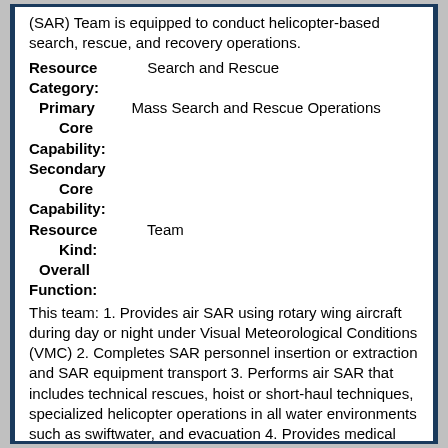(SAR) Team is equipped to conduct helicopter-based search, rescue, and recovery operations.
Resource Category: Search and Rescue
Primary Core Capability: Mass Search and Rescue Operations
Secondary Core Capability:
Resource Kind: Team
Overall Function:
This team: 1. Provides air SAR using rotary wing aircraft during day or night under Visual Meteorological Conditions (VMC) 2. Completes SAR personnel insertion or extraction and SAR equipment transport 3. Performs air SAR that includes technical rescues, hoist or short-haul techniques, specialized helicopter operations in all water environments such as swiftwater, and evacuation 4. Provides medical care that includes Basic Life Support (BLS) and transport to Advanced Life Support (ALS) providers 5. Operates in